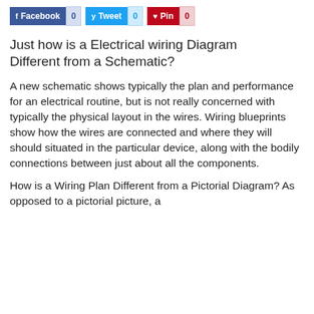[Figure (infographic): Social share buttons row: Facebook (0), Tweet (0), Pin (0)]
Just how is a Electrical wiring Diagram Different from a Schematic?
A new schematic shows typically the plan and performance for an electrical routine, but is not really concerned with typically the physical layout in the wires. Wiring blueprints show how the wires are connected and where they will should situated in the particular device, along with the bodily connections between just about all the components.
How is a Wiring Plan Different from a Pictorial Diagram? As opposed to a pictorial picture, a